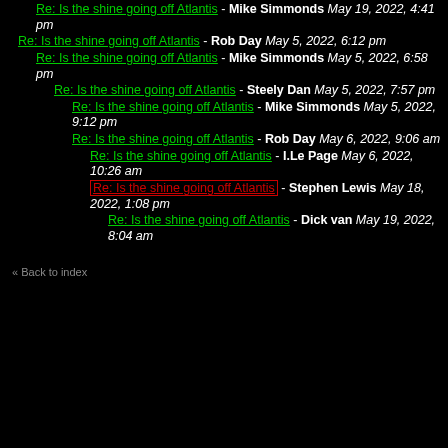Re: Is the shine going off Atlantis - Mike Simmonds May 19, 2022, 4:41 pm
Re: Is the shine going off Atlantis - Rob Day May 5, 2022, 6:12 pm
Re: Is the shine going off Atlantis - Mike Simmonds May 5, 2022, 6:58 pm
Re: Is the shine going off Atlantis - Steely Dan May 5, 2022, 7:57 pm
Re: Is the shine going off Atlantis - Mike Simmonds May 5, 2022, 9:12 pm
Re: Is the shine going off Atlantis - Rob Day May 6, 2022, 9:06 am
Re: Is the shine going off Atlantis - I.Le Page May 6, 2022, 10:26 am
Re: Is the shine going off Atlantis - Stephen Lewis May 18, 2022, 1:08 pm
Re: Is the shine going off Atlantis - Dick van May 19, 2022, 8:04 am
« Back to index